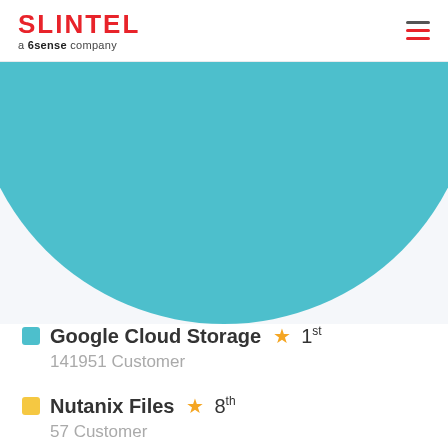SLINTEL a 6sense company
[Figure (other): Large teal/turquoise circle (donut or bubble chart element) partially visible at the top of the page, showing a half-circle cropped at the bottom]
Google Cloud Storage ★ 1st
141951 Customer
Nutanix Files ★ 8th
57 Customer